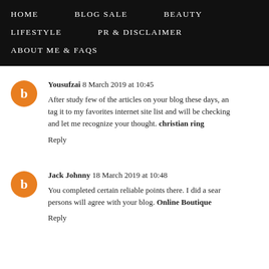HOME   BLOG SALE   BEAUTY   LIFESTYLE   PR & DISCLAIMER   ABOUT ME & FAQs
Yousufzai 8 March 2019 at 10:45
After study few of the articles on your blog these days, and tag it to my favorites internet site list and will be checking and let me recognize your thought. christian ring
Reply
Jack Johnny 18 March 2019 at 10:48
You completed certain reliable points there. I did a search persons will agree with your blog. Online Boutique
Reply